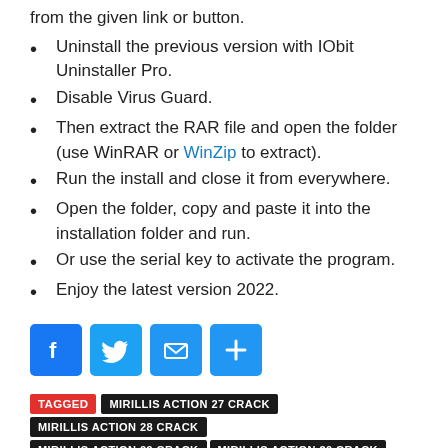from the given link or button.
Uninstall the previous version with IObit Uninstaller Pro.
Disable Virus Guard.
Then extract the RAR file and open the folder (use WinRAR or WinZip to extract).
Run the install and close it from everywhere.
Open the folder, copy and paste it into the installation folder and run.
Or use the serial key to activate the program.
Enjoy the latest version 2022.
[Figure (infographic): Social share buttons: Facebook, Twitter, Email, Share (blue icons)]
TAGGED  MIRILLIS ACTION 27 CRACK  MIRILLIS ACTION 28 CRACK  MIRILLIS ACTION 29 CRACK  MIRILLIS ACTION 30 CRACK  MIRILLIS ACTION ACTIVATION KEY  MIRILLIS ACTION APK  MIRILLIS ACTION CRACK  MIRILLIS ACTION CRACK 2021